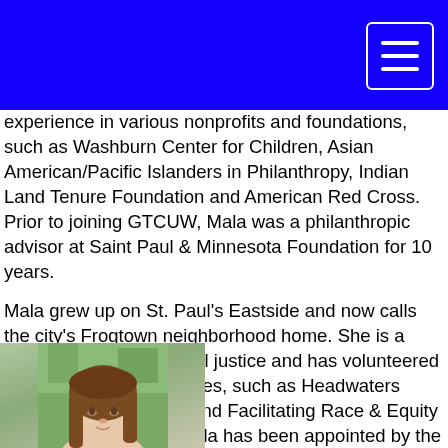experience in various nonprofits and foundations, such as Washburn Center for Children, Asian American/Pacific Islanders in Philanthropy, Indian Land Tenure Foundation and American Red Cross. Prior to joining GTCUW, Mala was a philanthropic advisor at Saint Paul & Minnesota Foundation for 10 years.
Mala grew up on St. Paul's Eastside and now calls the city's Frogtown neighborhood home. She is a fierce advocate for social justice and has volunteered on boards and committees, such as Headwaters Foundation for Justice and Facilitating Race & Equity Conference (FREC). Mala has been appointed by the Mayor of St. Paul to serve as Commissioner of the Human Rights & Equal Economic Opportunity (HREEO) and has also been appointed by the Metropolitan Council to serve on the Livable Communities Advisory Committee (LCAC). When Mala is not working or fighting for social justice, she spends her time as a foodie.
[Figure (photo): Partial photo of a woman with brown hair, shown from shoulders up, outdoor background with green foliage]